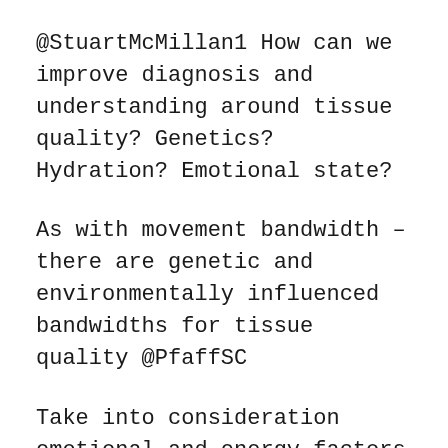@StuartMcMillan1 How can we improve diagnosis and understanding around tissue quality? Genetics? Hydration? Emotional state?
As with movement bandwidth – there are genetic and environmentally influenced bandwidths for tissue quality @PfaffSC
Take into consideration emotional and energy factors when treating patients